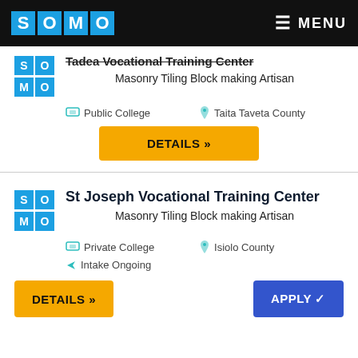SOMO | MENU
Tadea Vocational Training Center – Masonry Tiling Block making Artisan
Public College | Taita Taveta County
DETAILS »
St Joseph Vocational Training Center – Masonry Tiling Block making Artisan
Private College | Isiolo County | Intake Ongoing
DETAILS » | APPLY ✓